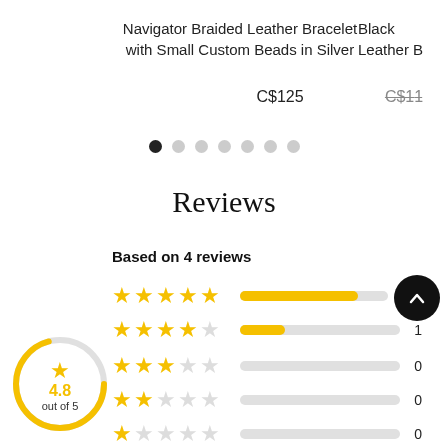Navigator Braided Leather Bracelet with Small Custom Beads in Silver
C$125
C$11- (strikethrough, partial, right side)
[Figure (other): Pagination dots row: 7 dots, first one filled black, rest grey]
Reviews
Based on 4 reviews
[Figure (bar-chart): Star rating breakdown bars: 5-star full bar, 4-star short bar count 1, 3-star empty count 0, 2-star empty count 0, 1-star empty count 0. Circle badge showing 4.8 out of 5.]